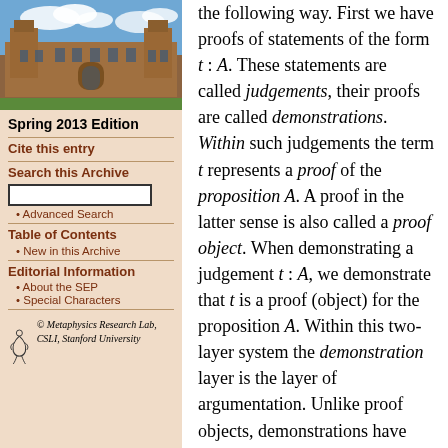[Figure (photo): Photograph of a historic university building (stone Gothic architecture) with a blue sky and clouds]
Spring 2013 Edition
Cite this entry
Search this Archive
Advanced Search
Table of Contents
New in this Archive
Editorial Information
About the SEP
Special Characters
[Figure (logo): Metaphysics Research Lab, CSLI, Stanford University logo with stylized figure]
the following way. First we have proofs of statements of the form t : A. These statements are called judgements, their proofs are called demonstrations. Within such judgements the term t represents a proof of the proposition A. A proof in the latter sense is also called a proof object. When demonstrating a judgement t : A, we demonstrate that t is a proof (object) for the proposition A. Within this two-layer system the demonstration layer is the layer of argumentation. Unlike proof objects, demonstrations have epistemic significance; their judgements carry assertoric force. The proof layer is the